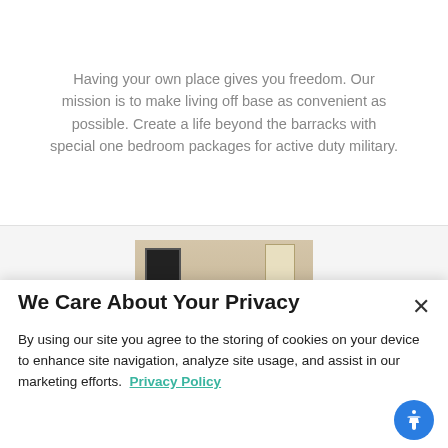Having your own place gives you freedom. Our mission is to make living off base as convenient as possible. Create a life beyond the barracks with special one bedroom packages for active duty military.
[Figure (photo): A modern living room with gray sofas, a round coffee table on a yellow patterned rug, a dark accent chair in the center, artwork on the wall, and a window in the background.]
We Care About Your Privacy
By using our site you agree to the storing of cookies on your device to enhance site navigation, analyze site usage, and assist in our marketing efforts.  Privacy Policy